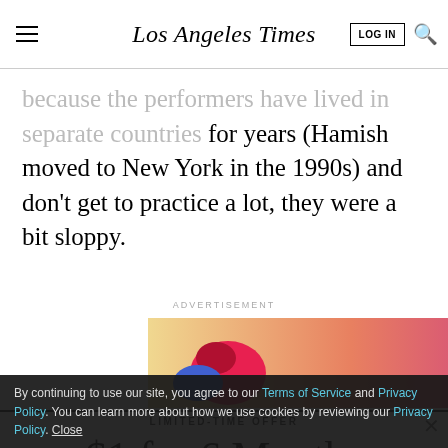Los Angeles Times
because the performers have lived in separate countries for years (Hamish moved to New York in the 1990s) and don't get to practice a lot, they were a bit sloppy.
ADVERTISEMENT
[Figure (illustration): Colorful advertisement banner with stylized fruit/food imagery on gradient pink-gold background]
LIMITED-TIME OFFER
$1 for 6 Months
SUBSCRIBE NOW
By continuing to use our site, you agree to our Terms of Service and Privacy Policy. You can learn more about how we use cookies by reviewing our Privacy Policy. Close